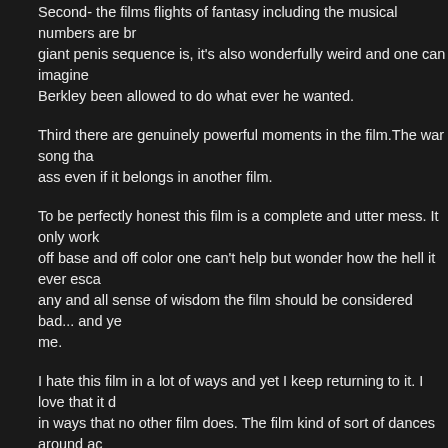Second- the films flights of fantasy including the musical numbers are br... giant penis sequence is, it's also wonderfully weird and one can imagine... Berkley been allowed to do what ever he wanted.
Third there are genuinely powerful moments in the film.The war song tha... ass even if it belongs in another film.
To be perfectly honest this film is a complete and utter mess. It only work... off base and off color one can't help but wonder how the hell it ever esca... any and all sense of wisdom the film should be considered bad... and ye... me.
I hate this film in a lot of ways and yet I keep returning to it. I love that it d... in ways that no other film does. The film kind of sort of dances around ac... how can a brilliant man like Russell make such a piece of crap like this (T... awful House of Usher film). How is that Russell lays all that went wrong w... Wagner? It's not that simple and Russell's reading of events and history... than many fringe historians. Yes I know the film is a fantasia on Liszt and... was going on in Russell's head? It reminds me of his truly awful Fall of th... a stream of consciousness series of things that no one ever checked to s...
Watching the film on the Warner Archive disc I find I still don't know what... not bad, it's something that forces me to wrestle with it over and over aga... me on almost every level--which, if great cinema forces us to interact with... probably a great film.